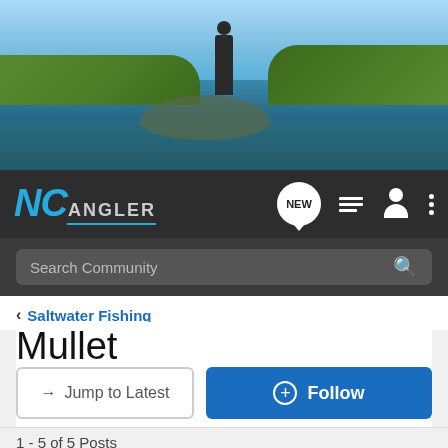[Figure (photo): Header photo of a person fly fishing in a river, surrounded by green vegetation and hills]
NC ANGLER navigation bar with logo, NEW chat icon, list icon, user icon, and menu icon
Search Community
< Saltwater Fishing
Mullet
→ Jump to Latest
+ Follow
1 - 5 of 5 Posts
Dishfishin03 · Registered
Joined Mar 14, 2015 · 25 Posts